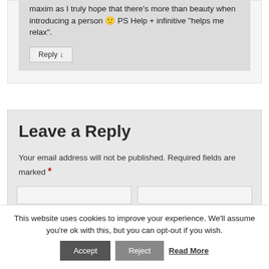maxim as I truly hope that there's more than beauty when introducing a person 🙂 PS Help + infinitive "helps me relax".
Reply ↓
Leave a Reply
Your email address will not be published. Required fields are marked *
This website uses cookies to improve your experience. We'll assume you're ok with this, but you can opt-out if you wish.
Accept  Reject  Read More